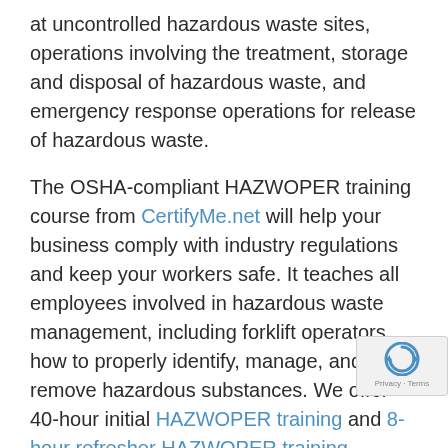at uncontrolled hazardous waste sites, operations involving the treatment, storage and disposal of hazardous waste, and emergency response operations for release of hazardous waste.
The OSHA-compliant HAZWOPER training course from CertifyMe.net will help your business comply with industry regulations and keep your workers safe. It teaches all employees involved in hazardous waste management, including forklift operators, how to properly identify, manage, and remove hazardous substances. We offer 40-hour initial HAZWOPER training and 8-hour refresher HAZWOPER training courses both online for convenience and stress-free learning.
Learn more about our OSHA-compliant and comprehensive HAZWOPER training and forklift operator training courses on our website or by calling (888) 699-4800. You can also visit our contact page to ask a question, get a quote an...